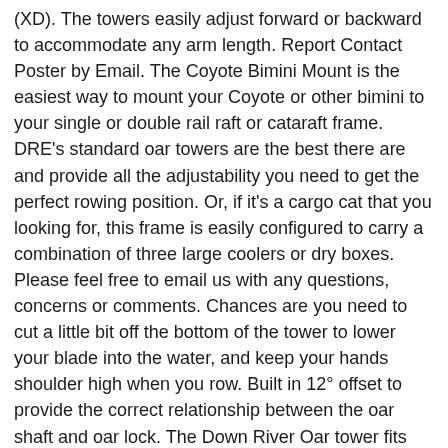(XD). The towers easily adjust forward or backward to accommodate any arm length. Report Contact Poster by Email. The Coyote Bimini Mount is the easiest way to mount your Coyote or other bimini to your single or double rail raft or cataraft frame. DRE's standard oar towers are the best there are and provide all the adjustability you need to get the perfect rowing position. Or, if it's a cargo cat that you looking for, this frame is easily configured to carry a combination of three large coolers or dry boxes. Please feel free to email us with any questions, concerns or comments. Chances are you need to cut a little bit off the bottom of the tower to lower your blade into the water, and keep your hands shoulder high when you row. Built in 12° offset to provide the correct relationship between the oar shaft and oar lock. The Down River Oar tower fits most 5/8in oar locks or pins. Priced here to includes Kick Bar, 2 pair of Scout Rails, 2 Captain's Chairs and oar towers. The female common seal … LD model frames use 1.25" ID aluminum and will accommodate up to 13' boats. The towers easily adjust forward or backward to accommodate any arm length. Fill out the new account form then